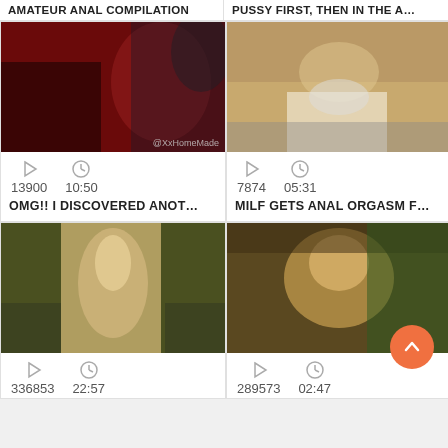AMATEUR ANAL COMPILATION
PUSSY FIRST, THEN IN THE A…
[Figure (photo): Video thumbnail showing a person on a dark red/maroon background]
13900   10:50
OMG!! I DISCOVERED ANOT…
[Figure (photo): Video thumbnail showing a person viewed from above on a wooden floor]
7874   05:31
MILF GETS ANAL ORGASM F…
[Figure (photo): Video thumbnail close-up]
336853   22:57
[Figure (photo): Video thumbnail showing a person's face]
289573   02:47